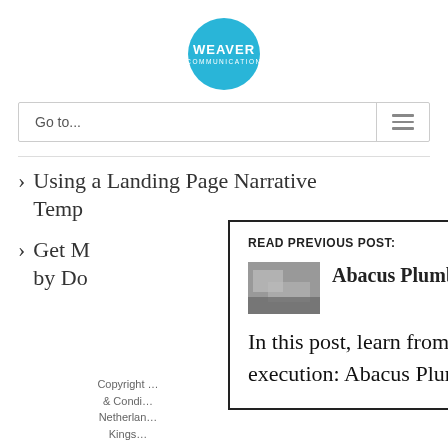[Figure (logo): Weaver Communication logo — cyan circle with white text WEAVER COMMUNICATION]
Go to...
> Using a Landing Page Narrative Temp...
> Get M... by Do...
[Figure (screenshot): Popup overlay: READ PREVIOUS POST: Abacus Plumbing: Example in Digital Marketing Strategy. In this post, learn from a small business doing an expert job in digital marketing strategy execution: Abacus Plumbing. Abacus...]
Copyright... & Condi... Netherlan... Kings...